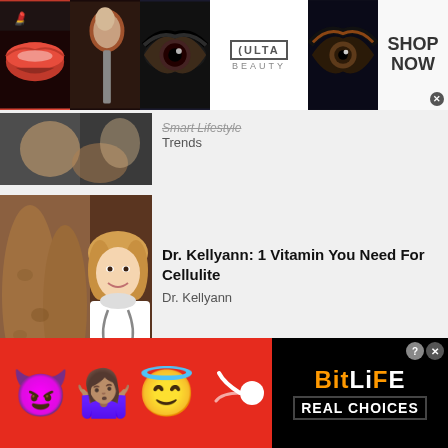[Figure (photo): Ulta Beauty advertisement banner with lipstick, makeup brush, eye makeup, Ulta Beauty logo, dramatic eye makeup, and Shop Now button]
[Figure (photo): Partial article thumbnail showing two people, partially cropped]
Smart Lifestyle Trends
[Figure (photo): Article thumbnail showing legs with cellulite and a female doctor smiling wearing a stethoscope]
Dr. Kellyann: 1 Vitamin You Need For Cellulite
Dr. Kellyann
[Figure (photo): Partial article thumbnail showing a dark scene]
Virginia Launches
[Figure (infographic): BitLife game advertisement with devil emoji, person shrugging emoji, angel emoji, sperm icon, BitLife logo, and REAL CHOICES text on red background]